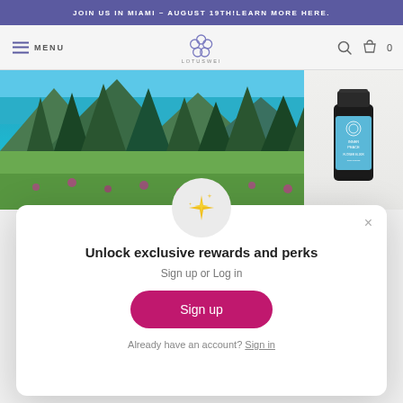JOIN US IN MIAMI ~ AUGUST 19TH! LEARN MORE HERE.
MENU | LOTUSWEI logo | Search | Cart 0
[Figure (photo): Hero background showing a mountain lake with evergreen trees and wildflowers, and a product supplement bottle on the right side]
Unlock exclusive rewards and perks
Sign up or Log in
Sign up
Already have an account? Sign in